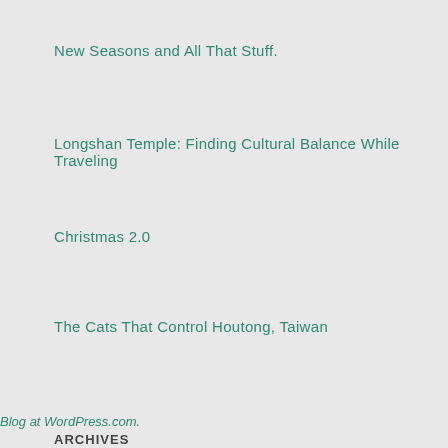New Seasons and All That Stuff.
Longshan Temple: Finding Cultural Balance While Traveling
Christmas 2.0
The Cats That Control Houtong, Taiwan
ARCHIVES
Select Month
Blog at WordPress.com.